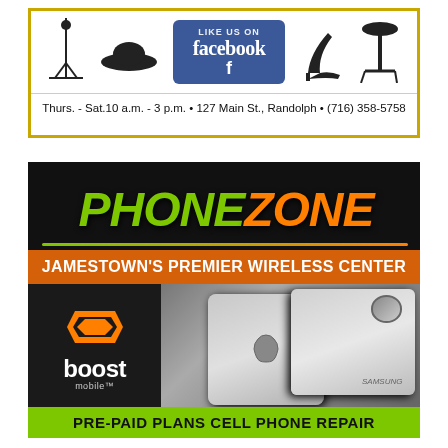[Figure (advertisement): Top advertisement with fashion/accessories icons (hat stand, hat, high heels, side table), a Facebook 'Like Us On' badge, and contact info: Thurs. - Sat.10 a.m. - 3 p.m. • 127 Main St., Randolph • (716) 358-5758]
Thurs. - Sat.10 a.m. - 3 p.m. • 127 Main St., Randolph • (716) 358-5758
[Figure (advertisement): Phone Zone advertisement on black background. Logo: 'PHONE' in green italic bold and 'ZONE' in orange italic bold. Orange banner: JAMESTOWN'S PREMIER WIRELESS CENTER. Boost Mobile logo and phone photo (iPhone and Samsung). Green bottom banner: PRE-PAID PLANS  CELL PHONE REPAIR]